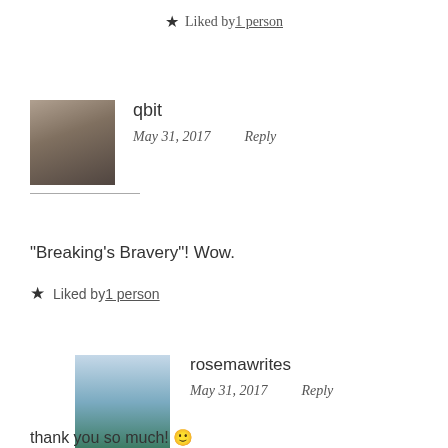★ Liked by 1 person
qbit
May 31, 2017   Reply
“Breaking’s Bravery”! Wow.
★ Liked by 1 person
rosemawrites
May 31, 2017   Reply
thank you so much! 😊